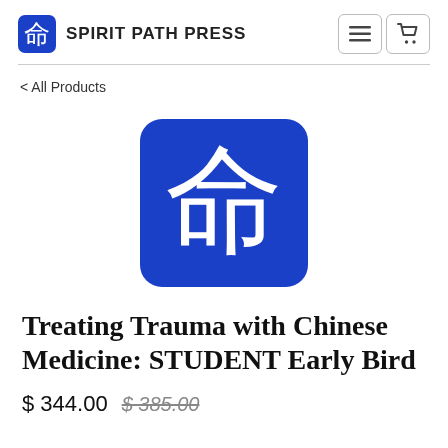Spirit Path Press
< All Products
[Figure (logo): Blue rounded square with white Chinese character 命 (ming) — Spirit Path Press product logo]
Treating Trauma with Chinese Medicine: STUDENT Early Bird
$ 344.00  $ 385.00